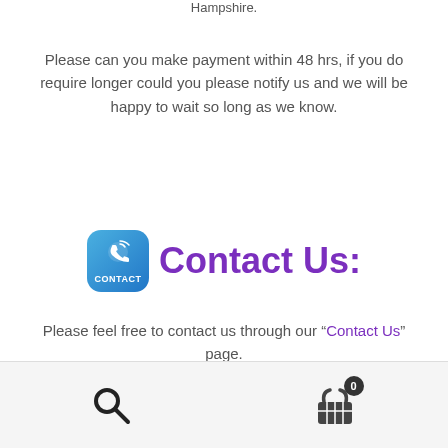Hampshire.
Please can you make payment within 48 hrs, if you do require longer could you please notify us and we will be happy to wait so long as we know.
Contact Us:
Please feel free to contact us through our “Contact Us” page.
We normally answer messages at the latest within 1 hour during normal working hours. However, we do monitor messages out of hours and over the weekends/holidays and aim to get back to you within a couple of hours.
[search icon] [cart icon with badge 0]